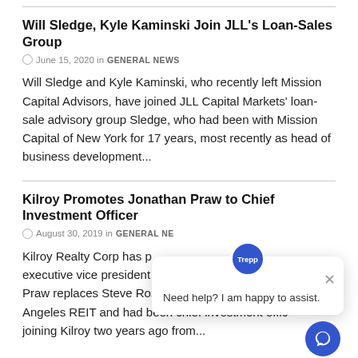Will Sledge, Kyle Kaminski Join JLL's Loan-Sales Group
June 15, 2020 in GENERAL NEWS
Will Sledge and Kyle Kaminski, who recently left Mission Capital Advisors, have joined JLL Capital Markets' loan-sale advisory group Sledge, who had been with Mission Capital of New York for 17 years, most recently as head of business development...
Kilroy Promotes Jonathan Praw to Chief Investment Officer
August 30, 2019 in GENERAL NEWS
Kilroy Realty Corp has promoted Jonathan Praw to executive vice president and chief investment officer Praw replaces Steve Rosetta, who is leaving the Los Angeles REIT and had been chief investment officer since joining Kilroy two years ago from...